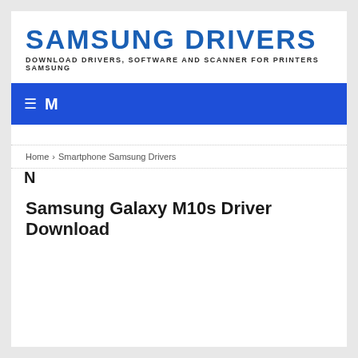SAMSUNG DRIVERS
DOWNLOAD DRIVERS, SOFTWARE AND SCANNER FOR PRINTERS SAMSUNG
≡ M E N U
Home › Smartphone Samsung Drivers
Samsung Galaxy M10s Driver Download